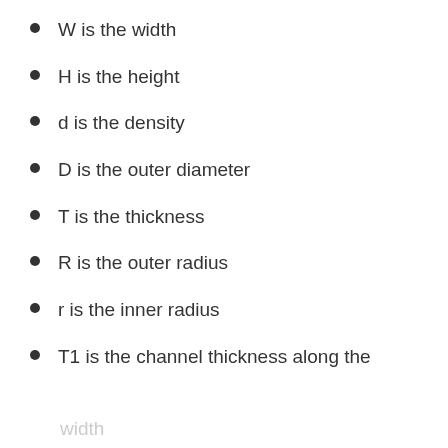W is the width
H is the height
d is the density
D is the outer diameter
T is the thickness
R is the outer radius
r is the inner radius
T1 is the channel thickness along the
width